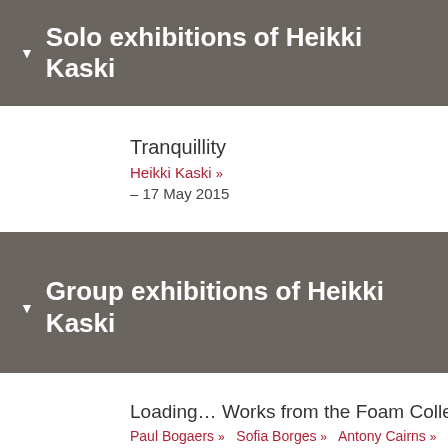Solo exhibitions of Heikki Kaski
Tranquillity
Heikki Kaski »
– 17 May 2015
Group exhibitions of Heikki Kaski
Loading… Works from the Foam Collection
Paul Bogaers »  Sofia Borges »  Antony Cairns »  Juno Calyp
– 18 Nov 2018